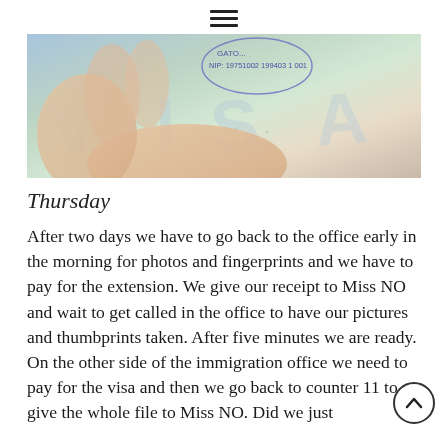≡
[Figure (photo): Close-up photograph of a visa page in a passport being held by a hand. The visa stamp shows 'GATO...' and 'NIP: 19751002 199403 1 001'. The letters V, I, S, A are visible watermarked across the document in light blue/grey.]
Thursday
After two days we have to go back to the office early in the morning for photos and fingerprints and we have to pay for the extension. We give our receipt to Miss NO and wait to get called in the office to have our pictures and thumbprints taken. After five minutes we are ready. On the other side of the immigration office we need to pay for the visa and then we go back to counter 11 to give the whole file to Miss NO. Did we just ...